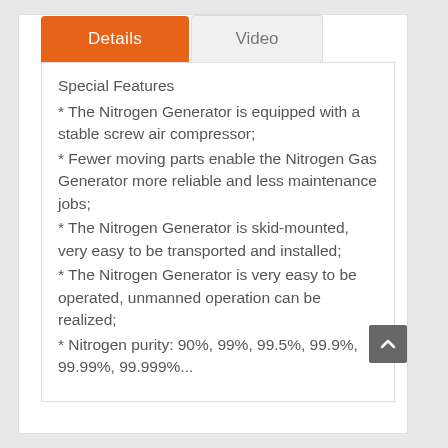Details
Video
Special Features
* The Nitrogen Generator is equipped with a stable screw air compressor;
* Fewer moving parts enable the Nitrogen Gas Generator more reliable and less maintenance jobs;
* The Nitrogen Generator is skid-mounted, very easy to be transported and installed;
* The Nitrogen Generator is very easy to be operated, unmanned operation can be realized;
* Nitrogen purity: 90%, 99%, 99.5%, 99.9%, 99.99%, 99.999%...